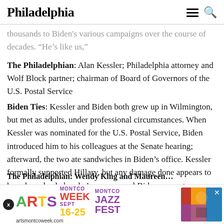Philadelphia
thousands to Biden's various campaigns over the course of decades. “He’s like us,”
The Philadelphian: Alan Kessler; Philadelphia attorney and Wolf Block partner; chairman of Board of Governors of the U.S. Postal Service
Biden Ties: Kessler and Biden both grew up in Wilmington, but met as adults, under professional circumstances. When Kessler was nominated for the U.S. Postal Service, Biden introduced him to his colleagues at the Senate hearing; afterward, the two ate sandwiches in Biden’s office. Kessler formally supported Hillary, but any damage done appears to have been healed — he’s now a vocal Biden supporter.
[Figure (infographic): Advertisement banner for MONTCO WEEK SEPT 16-25 and MONTCO JAZZ FEST at artsmontcoweek.com]